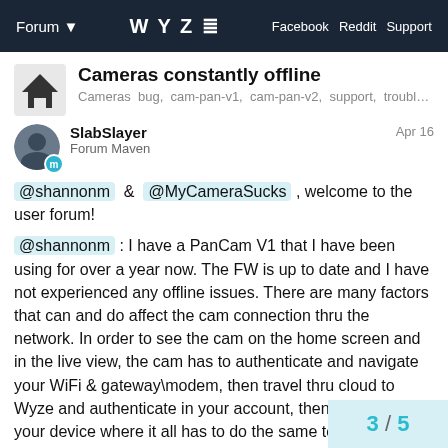Forum ▾   WYZE   Facebook  Reddit  Support
Cameras constantly offline
Cameras  bug,  cam-pan-v1,  cam-pan-v2,  support,  troubl…
SlabSlayer
Forum Maven
Apr 16
@shannonm & @MyCameraSucks , welcome to the user forum!
@shannonm : I have a PanCam V1 that I have been using for over a year now. The FW is up to date and I have not experienced any offline issues. There are many factors that can and do affect the cam connection thru the network. In order to see the cam on the home screen and in the live view, the cam has to authenticate and navigate your WiFi & gateway\modem, then travel thru cloud to Wyze and authenticate in your account, then return trip to your device where it all has to do the same to connect. There is actually a lot of things that can cause problems. I have found that too many items on my old router caused dropouts. I upgraded to a strong mesh router with an e much fewer drops.
3 / 5